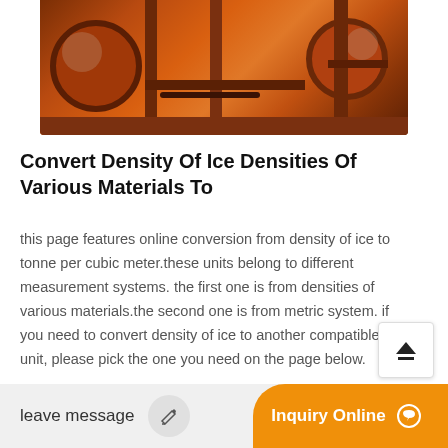[Figure (photo): Industrial orange-painted machinery, appears to be crushers or rollers, photographed in a workshop or factory setting.]
Convert Density Of Ice Densities Of Various Materials To
this page features online conversion from density of ice to tonne per cubic meter.these units belong to different measurement systems. the first one is from densities of various materials.the second one is from metric system. if you need to convert density of ice to another compatible unit, please pick the one you need on the page below.